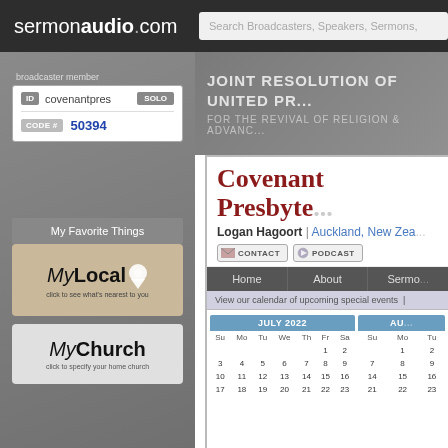sermonaudio.com | Search Broadcasters, Speakers, Sermons,
broadcaster member
ID  covenantpres  SOLO
CODE #  50394
My Favorite Things
[Figure (logo): MyLocal logo with map pin icon and tagline 'click to see what's nearest to you']
[Figure (logo): MyChurch logo with tagline 'click to specify your home church']
JOINT RESOLUTION OF UNITED PR... FOR THE REVIVAL OF RELIGION & ADVANC...
Covenant Presbyte...
Logan Hagoort | Auckland, New Zea...
CONTACT  PODCAST
Home  About  Sermo...
View our calendar of upcoming special events |
| Su | Mo | Tu | We | Th | Fr | Sa |
| --- | --- | --- | --- | --- | --- | --- |
|  |  |  |  |  | 1 | 2 |
| 3 | 4 | 5 | 6 | 7 | 8 | 9 |
| 10 | 11 | 12 | 13 | 14 | 15 | 16 |
| 17 | 18 | 19 | 20 | 21 | 22 | 23 |
| Su | Mo | Tu |
| --- | --- | --- |
|  | 1 | 2 |
| 7 | 8 | 9 |
| 14 | 15 | 16 |
| 21 | 22 | 23 |